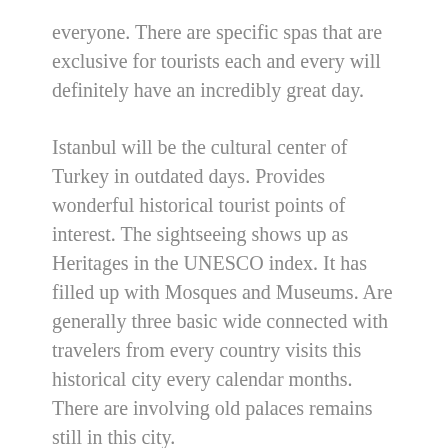everyone. There are specific spas that are exclusive for tourists each and every will definitely have an incredibly great day.
Istanbul will be the cultural center of Turkey in outdated days. Provides wonderful historical tourist points of interest. The sightseeing shows up as Heritages in the UNESCO index. It has filled up with Mosques and Museums. Are generally three basic wide connected with travelers from every country visits this historical city every calendar months. There are involving old palaces remains still in this city.
Affection:-I have often heard “I love you”, received or have given hugs, etc. away from door when my client is departing. That is awesome. I’m a loving Being and there’s always something good know it when I welcome you in, or